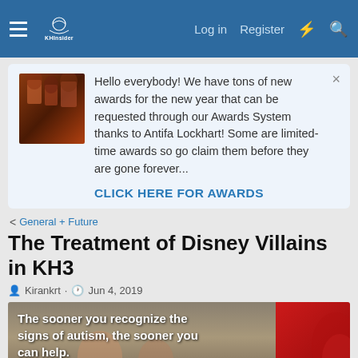KHInsider forum navigation bar with Log in, Register links
Hello everybody! We have tons of new awards for the new year that can be requested through our Awards System thanks to Antifa Lockhart! Some are limited-time awards so go claim them before they are gone forever...
CLICK HERE FOR AWARDS
< General + Future
The Treatment of Disney Villains in KH3
Kirankrt · Jun 4, 2019
[Figure (photo): Advertisement image with text: The sooner you recognize the signs of autism, the sooner you can help. Shows two women smiling. Alongside a red advertisement panel.]